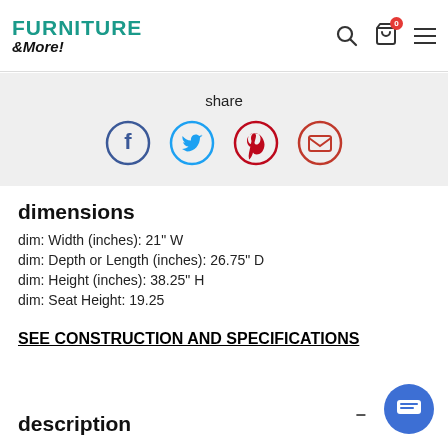Furniture & More!
[Figure (infographic): Share bar with social media icons: Facebook (blue circle), Twitter (light blue circle), Pinterest (red circle), Email (orange-red circle)]
dimensions
dim: Width (inches): 21" W
dim: Depth or Length (inches): 26.75" D
dim: Height (inches): 38.25" H
dim: Seat Height: 19.25
SEE CONSTRUCTION AND SPECIFICATIONS
description